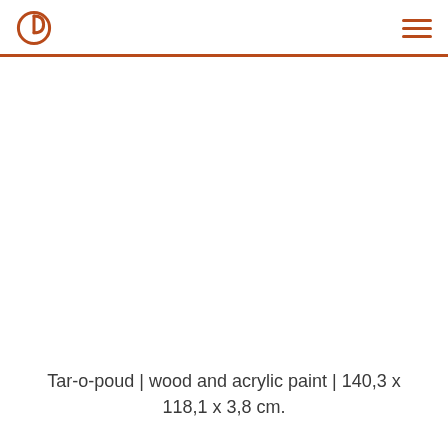Tar-o-poud | wood and acrylic paint | 140,3 x 118,1 x 3,8 cm.